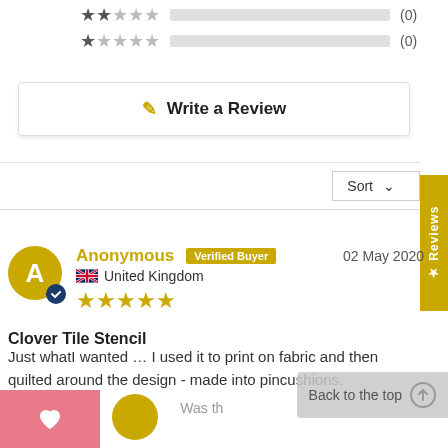[Figure (other): 2-star rating row with empty progress bar and count (0)]
[Figure (other): 1-star rating row with empty progress bar and count (0)]
Write a Review
Sort
Reviews
Anonymous  Verified Buyer  02 May 2020
United Kingdom
Clover Tile Stencil
Just whatI wanted … I used it to print on fabric and then quilted around the design - made into pincushions.
Share
Was th
Back to the top